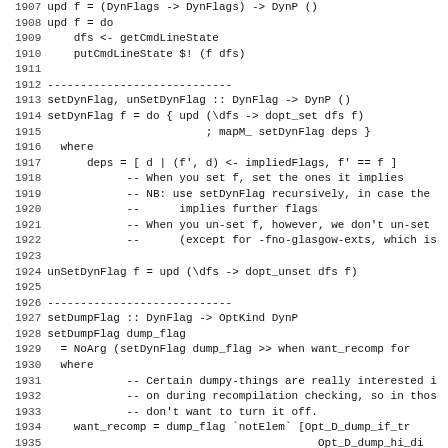[Figure (screenshot): Source code listing showing Haskell code for setDynFlag, unSetDynFlag, setDumpFlag, and forceRecompile functions, with line numbers 1907-1939.]